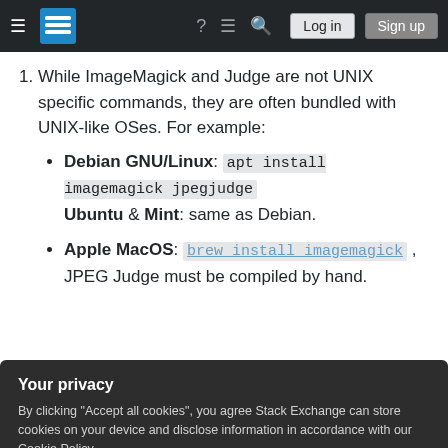Stack Exchange navigation bar with hamburger menu, logo, help, chat, search icons, Log in and Sign up buttons
While ImageMagick and Judge are not UNIX specific commands, they are often bundled with UNIX-like OSes. For example:
Debian GNU/Linux: apt install imagemagick jpegjudge
Ubuntu & Mint: same as Debian.
Apple MacOS: brew install imagemagick , JPEG Judge must be compiled by hand.
Your privacy
By clicking "Accept all cookies", you agree Stack Exchange can store cookies on your device and disclose information in accordance with our Cookie Policy.
[Accept all cookies] [Customize settings]
2. While converting to a lossless format and back...